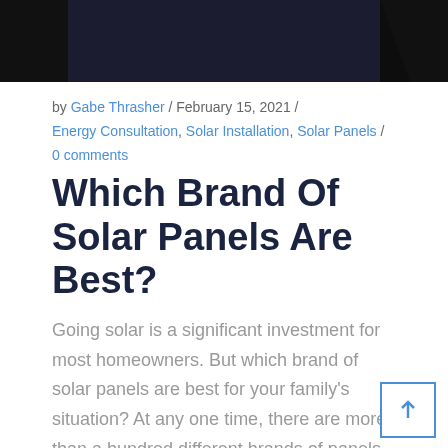[Figure (photo): Dark photograph strip at top of page, showing silhouetted figures against a dark background]
by Gabe Thrasher / February 15, 2021 / Energy Consultation, Solar Installation, Solar Panels / 0 comments
Which Brand Of Solar Panels Are Best?
Going solar is a significant investment for most homeowners. But which brand of solar panels are best for your family's situation? At any one time, there are more than a hundred different brands of panels on the market. Just like buying any large ticket item like a car or a p… you should always start with research and lo…